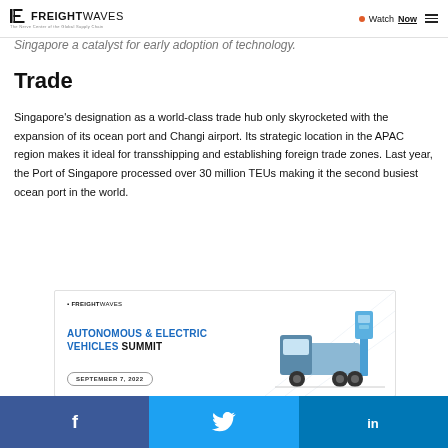FREIGHTWAVES — The Nerve Center of the Global Supply Chain | Watch Now
Singapore a catalyst for early adoption of technology.
Trade
Singapore's designation as a world-class trade hub only skyrocketed with the expansion of its ocean port and Changi airport. Its strategic location in the APAC region makes it ideal for transshipping and establishing foreign trade zones. Last year, the Port of Singapore processed over 30 million TEUs making it the second busiest ocean port in the world.
[Figure (infographic): FreightWaves Autonomous & Electric Vehicles Summit advertisement banner with date September 7, 2022 and illustration of electric truck at charging station]
Social share bar: Facebook, Twitter, LinkedIn